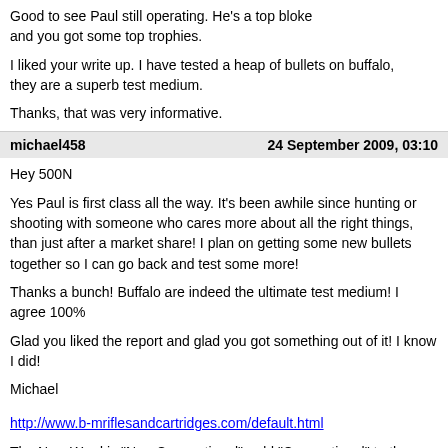Good to see Paul still operating. He's a top bloke and you got some top trophies.
I liked your write up. I have tested a heap of bullets on buffalo, they are a superb test medium.
Thanks, that was very informative.
michael458    24 September 2009, 03:10
Hey 500N
Yes Paul is first class all the way. It's been awhile since hunting or shooting with someone who cares more about all the right things, than just after a market share! I plan on getting some new bullets together so I can go back and test some more!
Thanks a bunch! Buffalo are indeed the ultimate test medium! I agree 100%
Glad you liked the report and glad you got something out of it! I know I did!
Michael
http://www.b-mriflesandcartridges.com/default.html
The New Word is "Non-Conventional", add "Conventional" to the Endangered Species List!